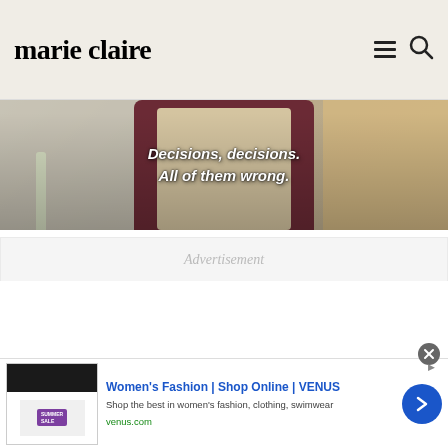marie claire
[Figure (photo): Photo of a person wearing a maroon shirt and apron with text overlay reading 'Decisions, decisions. All of them wrong.']
Decisions, decisions. All of them wrong.
Advertisement
[Figure (infographic): Ad banner: Women's Fashion | Shop Online | VENUS. Shop the best in women's fashion, clothing, swimwear. venus.com]